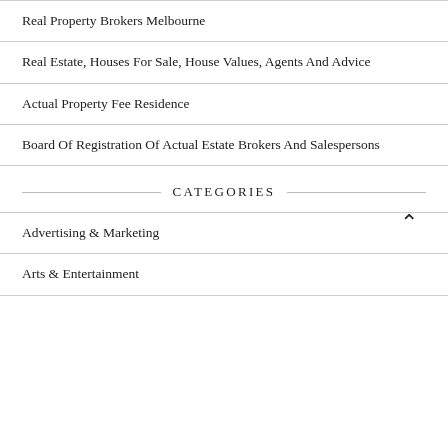Real Property Brokers Melbourne
Real Estate, Houses For Sale, House Values, Agents And Advice
Actual Property Fee Residence
Board Of Registration Of Actual Estate Brokers And Salespersons
CATEGORIES
Advertising & Marketing
Arts & Entertainment